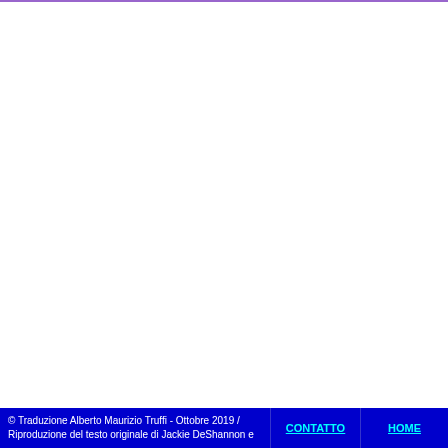© Traduzione Alberto Maurizio Truffi - Ottobre 2019 / Riproduzione del testo originale di Jackie DeShannon e
CONTATTO
HOME